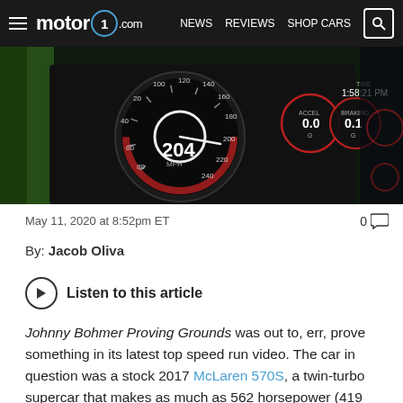motor1.com | NEWS  REVIEWS  SHOP CARS
[Figure (photo): Close-up of a car dashboard/speedometer showing 204 MPH speed, with ACCEL 0.0g, BRAKING 0.1g, and time 1:58:21 PM displayed on overlay gauges. Red-themed instrument cluster.]
May 11, 2020 at 8:52pm ET
0 comments
By: Jacob Oliva
Listen to this article
Johnny Bohmer Proving Grounds was out to, err, prove something in its latest top speed run video. The car in question was a stock 2017 McLaren 570S, a twin-turbo supercar that makes as much as 562 horsepower (419 kilowatts) and 443 pound-feet (601 Newton-meters) of torque.